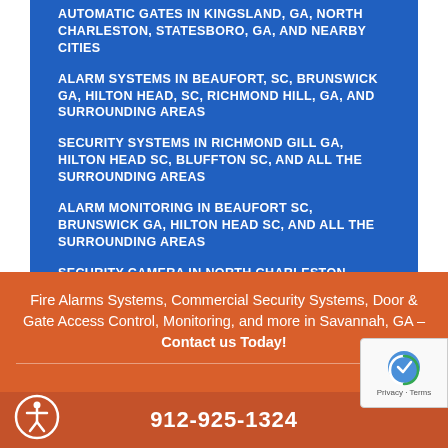AUTOMATIC GATES IN KINGSLAND, GA, NORTH CHARLESTON, STATESBORO, GA, AND NEARBY CITIES
ALARM SYSTEMS IN BEAUFORT, SC, BRUNSWICK GA, HILTON HEAD, SC, RICHMOND HILL, GA, AND SURROUNDING AREAS
SECURITY SYSTEMS IN RICHMOND GILL GA, HILTON HEAD SC, BLUFFTON SC, AND ALL THE SURROUNDING AREAS
ALARM MONITORING IN BEAUFORT SC, BRUNSWICK GA, HILTON HEAD SC, AND ALL THE SURROUNDING AREAS
SECURITY CAMERA IN NORTH CHARLESTON, BLUFFTON, SC, STATESBORO, GA, AND NEARBY CITIES
Fire Alarms Systems, Commercial Security Systems, Door & Gate Access Control, Monitoring, and more in Savannah, GA – Contact us Today!
912-925-1324